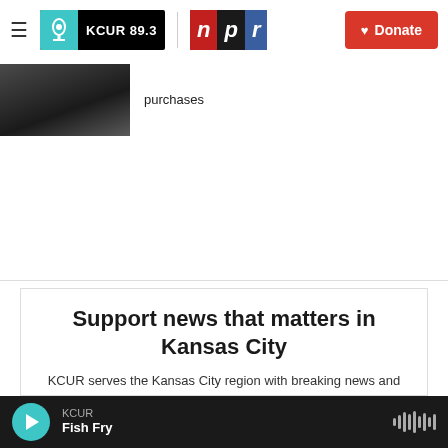≡ KCUR 89.3 | npr Donate
[Figure (screenshot): Partial article thumbnail image showing people outdoors]
purchases
[Figure (other): Advertisement area (blank)]
Support news that matters in Kansas City
KCUR serves the Kansas City region with breaking news and powerful storytelling. Your donation helps make non-profit journalism
KCUR Fish Fry